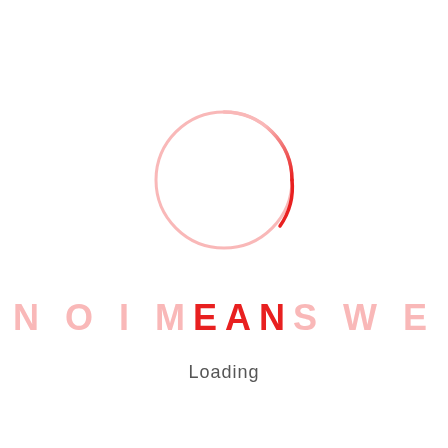[Figure (other): A circular loading spinner. The circle is mostly a light pink/salmon color fading to the bottom, with a brighter red segment at the top-right portion, suggesting rotation. The circle has a thin stroke and is open/incomplete.]
NOIMEANSWE
Loading